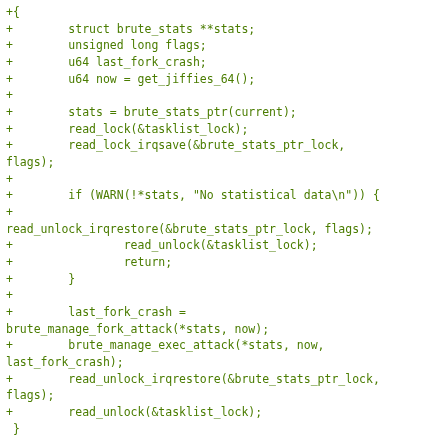+{
+        struct brute_stats **stats;
+        unsigned long flags;
+        u64 last_fork_crash;
+        u64 now = get_jiffies_64();
+
+        stats = brute_stats_ptr(current);
+        read_lock(&tasklist_lock);
+        read_lock_irqsave(&brute_stats_ptr_lock,
flags);
+
+        if (WARN(!*stats, "No statistical data\n")) {
+
read_unlock_irqrestore(&brute_stats_ptr_lock, flags);
+                read_unlock(&tasklist_lock);
+                return;
+        }
+
+        last_fork_crash =
brute_manage_fork_attack(*stats, now);
+        brute_manage_exec_attack(*stats, now,
last_fork_crash);
+        read_unlock_irqrestore(&brute_stats_ptr_lock,
flags);
+        read_unlock(&tasklist_lock);
 }

 /**
@@ -230,6 +689,7 @@ static struct security_hook_list
brute_hooks[]  lsm_ro_after_init = {